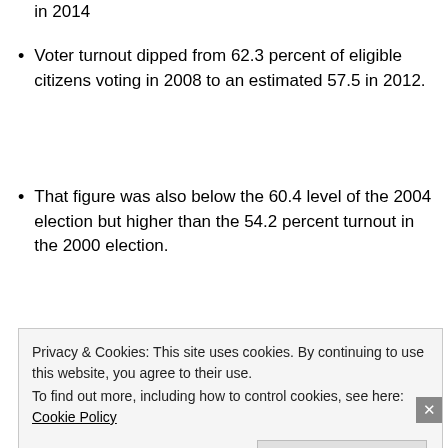in 2014
Voter turnout dipped from 62.3 percent of eligible citizens voting in 2008 to an estimated 57.5 in 2012.
That figure was also below the 60.4 level of the 2004 election but higher than the 54.2 percent turnout in the 2000 election.
How would you measure patriotism—by the number of beers one drinks on the 4th of July or if they voted on election days?
Privacy & Cookies: This site uses cookies. By continuing to use this website, you agree to their use.
To find out more, including how to control cookies, see here: Cookie Policy
Close and accept